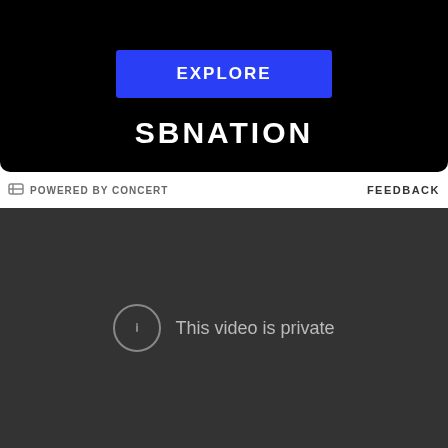[Figure (screenshot): Black banner section with blue EXPLORE button and SBNATION logo in white bold text on black background]
POWERED BY CONCERT
FEEDBACK
[Figure (screenshot): Dark gray video player showing 'This video is private' message with exclamation circle icon]